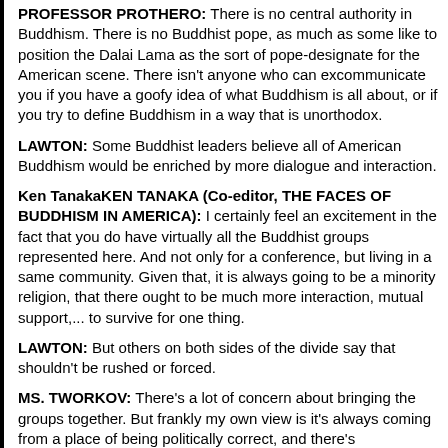PROFESSOR PROTHERO: There is no central authority in Buddhism. There is no Buddhist pope, as much as some like to position the Dalai Lama as the sort of pope-designate for the American scene. There isn't anyone who can excommunicate you if you have a goofy idea of what Buddhism is all about, or if you try to define Buddhism in a way that is unorthodox.
LAWTON: Some Buddhist leaders believe all of American Buddhism would be enriched by more dialogue and interaction.
Ken TanakaKEN TANAKA (Co-editor, THE FACES OF BUDDHISM IN AMERICA): I certainly feel an excitement in the fact that you do have virtually all the Buddhist groups represented here. And not only for a conference, but living in a same community. Given that, it is always going to be a minority religion, that there ought to be much more interaction, mutual support,... to survive for one thing.
LAWTON: But others on both sides of the divide say that shouldn't be rushed or forced.
MS. TWORKOV: There's a lot of concern about bringing the groups together. But frankly my own view is it's always coming from a place of being politically correct, and there's